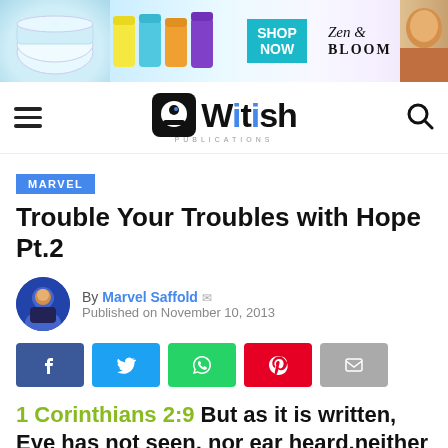[Figure (illustration): Advertisement banner for Zen & Bloom with 'SHOP NOW' button, product jars, and a model's face]
[Figure (logo): Witish Publications logo with hamburger menu and search icon]
MARVEL
Trouble Your Troubles with Hope Pt.2
By Marvel Saffold
Published on November 10, 2013
[Figure (illustration): Social share buttons: Facebook, Twitter, WhatsApp, Pinterest, Email]
1 Corinthians 2:9 But as it is written, Eye has not seen, nor ear heard,neither have entered into the